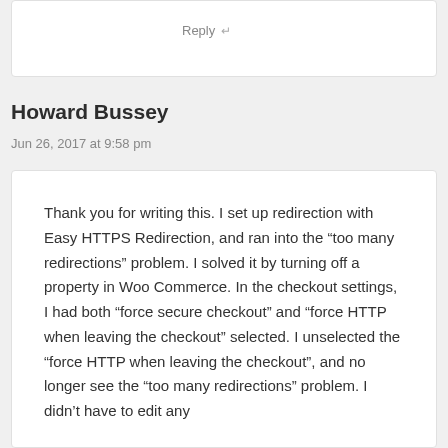Reply ↵
Howard Bussey
Jun 26, 2017 at 9:58 pm
Thank you for writing this. I set up redirection with Easy HTTPS Redirection, and ran into the “too many redirections” problem. I solved it by turning off a property in Woo Commerce. In the checkout settings, I had both “force secure checkout” and “force HTTP when leaving the checkout” selected. I unselected the “force HTTP when leaving the checkout”, and no longer see the “too many redirections” problem. I didn’t have to edit any